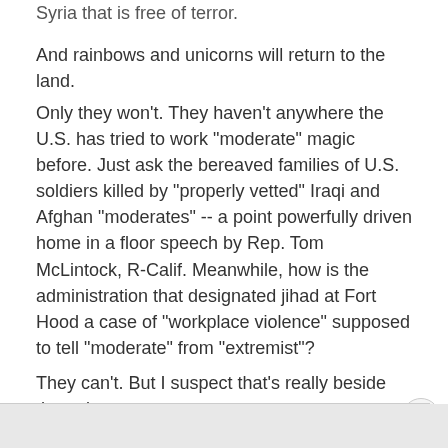Syria that is free of terror.
And rainbows and unicorns will return to the land.
Only they won't. They haven't anywhere the U.S. has tried to work "moderate" magic before. Just ask the bereaved families of U.S. soldiers killed by "properly vetted" Iraqi and Afghan "moderates" -- a point powerfully driven home in a floor speech by Rep. Tom McLintock, R-Calif. Meanwhile, how is the administration that designated jihad at Fort Hood a case of "workplace violence" supposed to tell "moderate" from "extremist"?
They can't. But I suspect that's really beside the point.